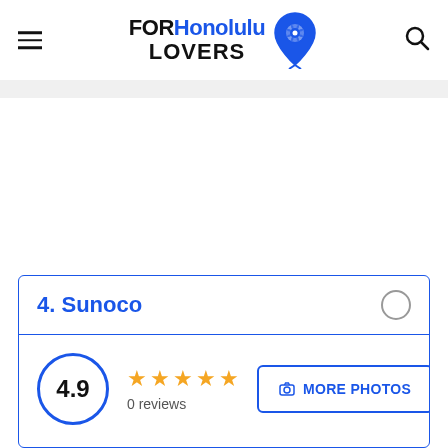FORHonolulu LOVERS
4. Sunoco
4.9 ★★★★★ 0 reviews MORE PHOTOS